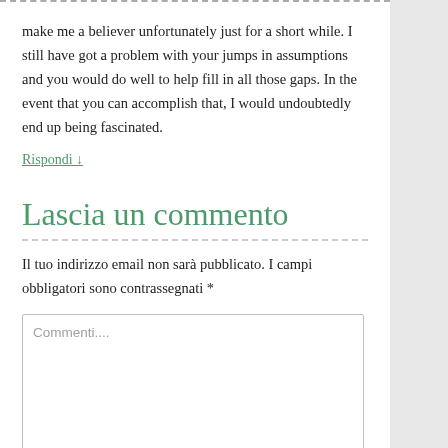make me a believer unfortunately just for a short while. I still have got a problem with your jumps in assumptions and you would do well to help fill in all those gaps. In the event that you can accomplish that, I would undoubtedly end up being fascinated.
Rispondi ↓
Lascia un commento
Il tuo indirizzo email non sarà pubblicato. I campi obbligatori sono contrassegnati *
Commenti....